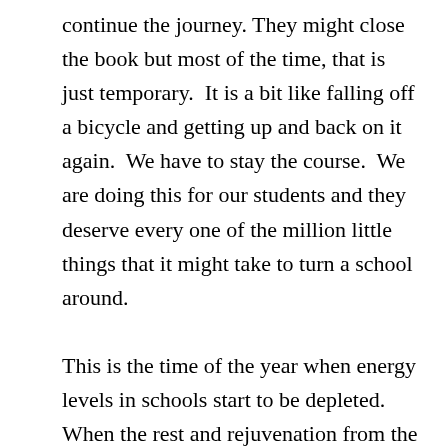continue the journey. They might close the book but most of the time, that is just temporary.  It is a bit like falling off a bicycle and getting up and back on it again.  We have to stay the course.  We are doing this for our students and they deserve every one of the million little things that it might take to turn a school around.

This is the time of the year when energy levels in schools start to be depleted.  When the rest and rejuvenation from the summer feels a hundred years ago.  It is the time to make sure that we don't close the book  or stay off the bike too long.  It is a very great time to refocus, revisit our collective commitments and goals and to ensure that we are working on the right work.  Are we prioritizing everything so nothing is really important? Have we allowed the distractors to